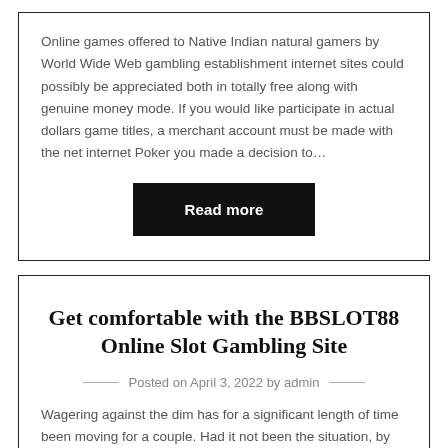Online games offered to Native Indian natural gamers by World Wide Web gambling establishment internet sites could possibly be appreciated both in totally free along with genuine money mode. If you would like participate in actual dollars game titles, a merchant account must be made with the net internet Poker you made a decision to…
Read more
Get comfortable with the BBSLOT88 Online Slot Gambling Site
Posted on April 3, 2022 by admin
Wagering against the dim has for a significant length of time been moving for a couple. Had it not been the situation, by